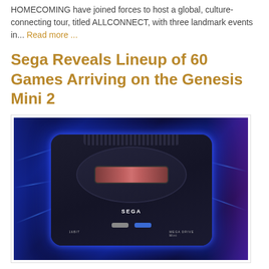HOMECOMING have joined forces to host a global, culture-connecting tour, titled ALLCONNECT, with three landmark events in... Read more ...
Sega Reveals Lineup of 60 Games Arriving on the Genesis Mini 2
[Figure (photo): Photo of the Sega Genesis Mini 2 console with blue glowing background and SEGA branding]
Sega has unveiled the full lineup of 60 games coming to the Genesis Mini 2. Among the roster of titles is Sonic 3D Blast , The Revenge of Shinobi , Night Trap and more. The... Read more ...